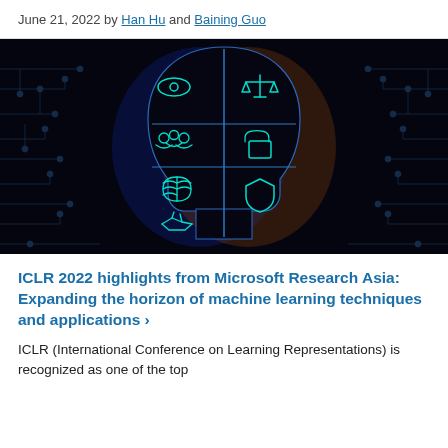June 21, 2022 by Han Hu and Baining Guo
[Figure (illustration): AI/machine learning themed illustration showing a head silhouette with circuit board patterns and icons representing: eye (vision), scales (fairness/ethics), people (collaboration), lock (security/privacy), brain, shield, handshake — split down the middle with blue glow on left and orange glow on right, surrounded by circuit board lines and nodes on dark background.]
ICLR 2022 highlights from Microsoft Research Asia: Expanding the horizon of machine learning techniques and applications ›
ICLR (International Conference on Learning Representations) is recognized as one of the top